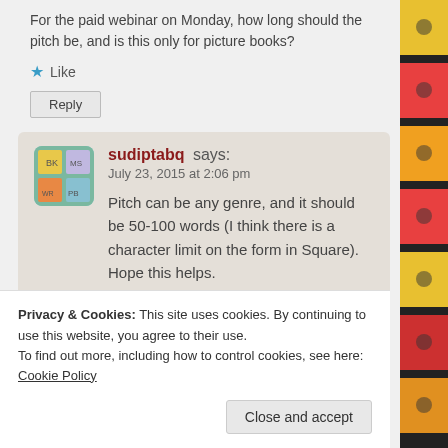For the paid webinar on Monday, how long should the pitch be, and is this only for picture books?
★ Like
Reply
sudiptabq says:
July 23, 2015 at 2:06 pm
Pitch can be any genre, and it should be 50-100 words (I think there is a character limit on the form in Square). Hope this helps.
Privacy & Cookies: This site uses cookies. By continuing to use this website, you agree to their use.
To find out more, including how to control cookies, see here: Cookie Policy
Close and accept